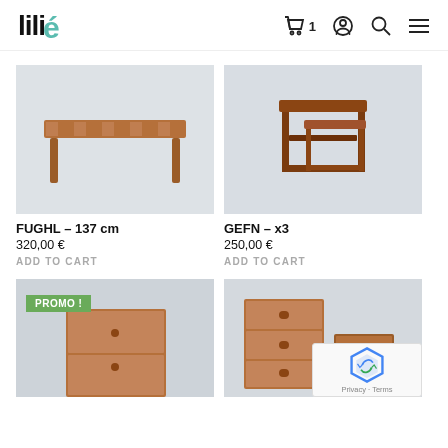lili [logo] — cart (1), account, search, menu icons
[Figure (photo): Photo of a teak coffee table with tile top, FUGHL product, 137 cm]
FUGHL – 137 cm
320,00 €
ADD TO CART
[Figure (photo): Photo of a teak nesting side tables set x3, GEFN product]
GEFN – x3
250,00 €
ADD TO CART
[Figure (photo): Photo of a teak cabinet/nightstand, with PROMO! badge, partially visible]
[Figure (photo): Photo of teak chest of drawers, partially visible]